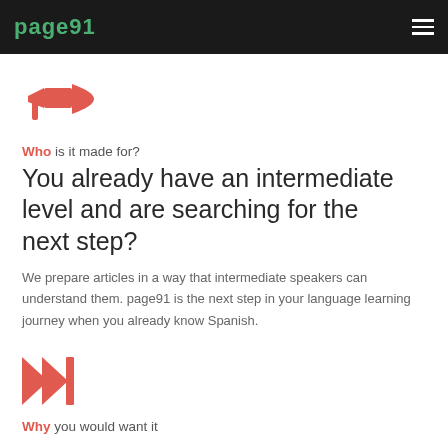page91 [navigation bar with logo and hamburger menu]
[Figure (illustration): Red/salmon colored megaphone icon pointing left]
Who is it made for?
You already have an intermediate level and are searching for the next step?
We prepare articles in a way that intermediate speakers can understand them. page91 is the next step in your language learning journey when you already know Spanish.
[Figure (illustration): Red/salmon colored skip-forward / fast-forward icon]
Why you would want it